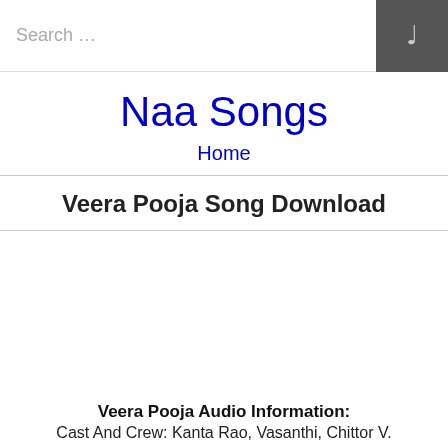Search …
Naa Songs
Home
Veera Pooja Song Download
Veera Pooja Audio Information:
Cast And Crew: Kanta Rao, Vasanthi, Chittor V.